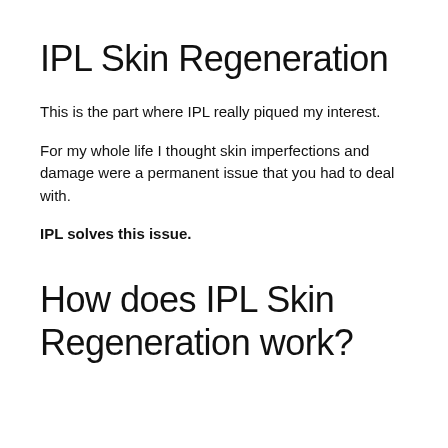IPL Skin Regeneration
This is the part where IPL really piqued my interest.
For my whole life I thought skin imperfections and damage were a permanent issue that you had to deal with.
IPL solves this issue.
How does IPL Skin Regeneration work?